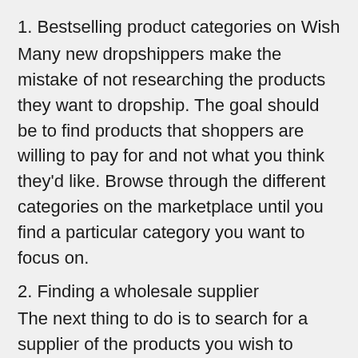1. Bestselling product categories on Wish
Many new dropshippers make the mistake of not researching the products they want to dropship. The goal should be to find products that shoppers are willing to pay for and not what you think they'd like. Browse through the different categories on the marketplace until you find a particular category you want to focus on.
2. Finding a wholesale supplier
The next thing to do is to search for a supplier of the products you wish to dropship on Wish. It's always a good idea to buy from wholesalers at a low price so you can sell to customers at a higher price. There are many dropshipping platforms with thousands of suppliers waiting to receive your orders.
3. Register as a seller on Wish
Once you have successfully taken the two steps above, it's time to register on Wish. Log on to the